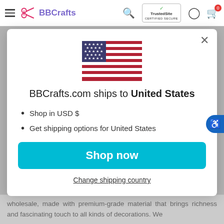BBCrafts — navigation header with logo, search, TrustedSite badge, user icon, cart (0)
[Figure (screenshot): US flag SVG illustration displayed in the modal dialog]
BBCrafts.com ships to United States
Shop in USD $
Get shipping options for United States
Shop now
Change shipping country
wholesale, made with premium-grade material that brings richness and fascinating touch to all kinds of decorations. We